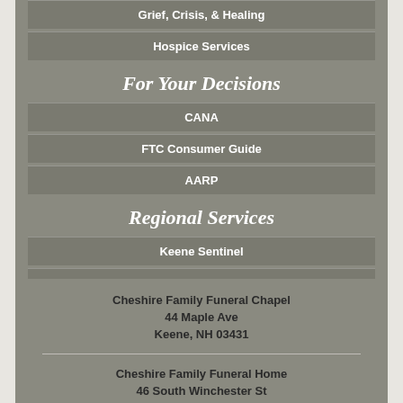Grief, Crisis, & Healing
Hospice Services
For Your Decisions
CANA
FTC Consumer Guide
AARP
Regional Services
Keene Sentinel
Brattleboro Reformer
Cheshire Family Crematory
Holiday Inn Express – Keene
Cheshire Family Funeral Chapel
44 Maple Ave
Keene, NH 03431
Cheshire Family Funeral Home
46 South Winchester St